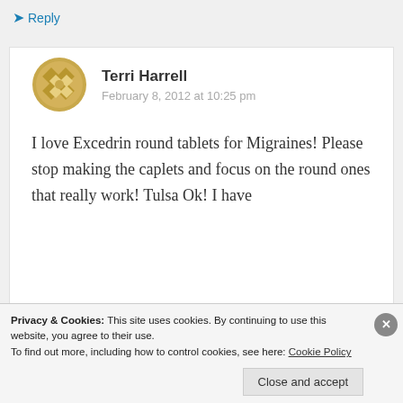↳ Reply
Terri Harrell
February 8, 2012 at 10:25 pm
I love Excedrin round tablets for Migraines! Please stop making the caplets and focus on the round ones that really work! Tulsa Ok! I have
Privacy & Cookies: This site uses cookies. By continuing to use this website, you agree to their use.
To find out more, including how to control cookies, see here: Cookie Policy
Close and accept